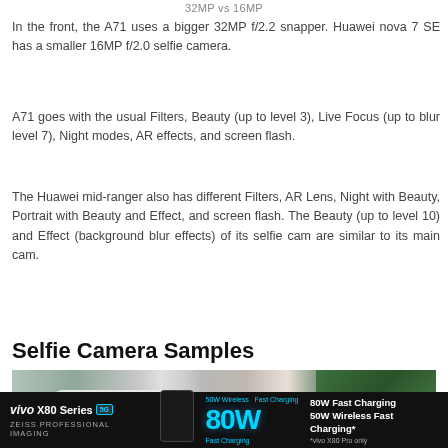32MP vs 16MP
In the front, the A71 uses a bigger 32MP f/2.2 snapper. Huawei nova 7 SE has a smaller 16MP f/2.0 selfie camera.
A71 goes with the usual Filters, Beauty (up to level 3), Live Focus (up to blur level 7), Night modes, AR effects, and screen flash.
The Huawei mid-ranger also has different Filters, AR Lens, Night with Beauty, Portrait with Beauty and Effect, and screen flash. The Beauty (up to level 10) and Effect (background blur effects) of its selfie cam are similar to its main cam.
Selfie Camera Samples
[Figure (photo): Selfie camera sample photo showing white SUV vehicles parked outdoors with trees in background and a close button overlay in the center]
[Figure (screenshot): Advertisement banner for vivo X80 Series 5G featuring ZEISS Professional Imaging and 80W Fast Charging / 50W Wireless Fast Charging promotion]